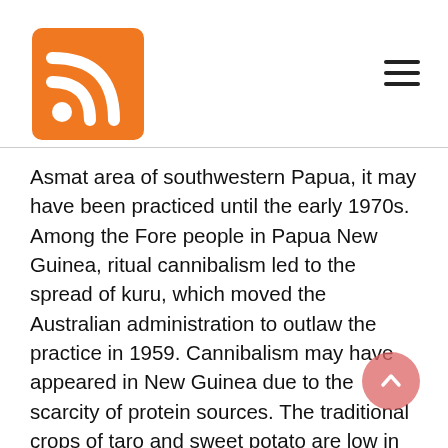RSS icon and hamburger menu
Asmat area of southwestern Papua, it may have been practiced until the early 1970s. Among the Fore people in Papua New Guinea, ritual cannibalism led to the spread of kuru, which moved the Australian administration to outlaw the practice in 1959. Cannibalism may have appeared in New Guinea due to the scarcity of protein sources. The traditional crops of taro and sweet potato are low in protein, compared to wheat, and the only edible animals available - such as mice, spiders and frogs - were small and inedible. Anthropologists point out, however, that a certain number of medium-sized marsupials are endemic to the island, and are hunted by the natives, and that pigs were introduced several thousand years before contact with Europeans.